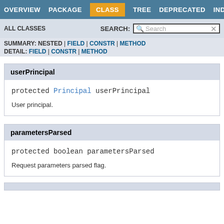OVERVIEW  PACKAGE  CLASS  TREE  DEPRECATED  INDEX
ALL CLASSES   SEARCH:  [Search]
SUMMARY: NESTED | FIELD | CONSTR | METHOD  DETAIL: FIELD | CONSTR | METHOD
userPrincipal
protected Principal userPrincipal
User principal.
parametersParsed
protected boolean parametersParsed
Request parameters parsed flag.